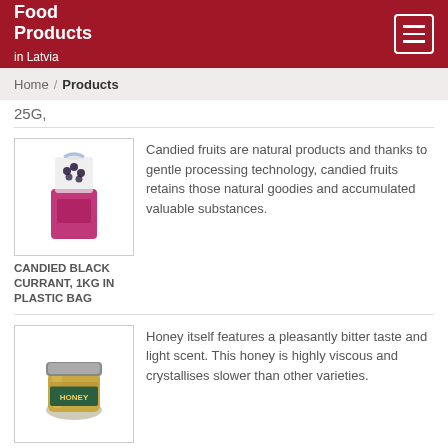Food Products in Latvia
Home / Products
25G,
[Figure (photo): Candied black currant 1kg in a plastic bag with pink packaging]
CANDIED BLACK CURRANT, 1KG IN PLASTIC BAG
Candied fruits are natural products and thanks to gentle processing technology, candied fruits retains those natural goodies and accumulated valuable substances.
[Figure (photo): Small glass jar of organic heather blossom honey 75g with green label]
ORGANIC HEATHER BLOSSOM HONEY 75 G
Honey itself features a pleasantly bitter taste and light scent. This honey is highly viscous and crystallises slower than other varieties.